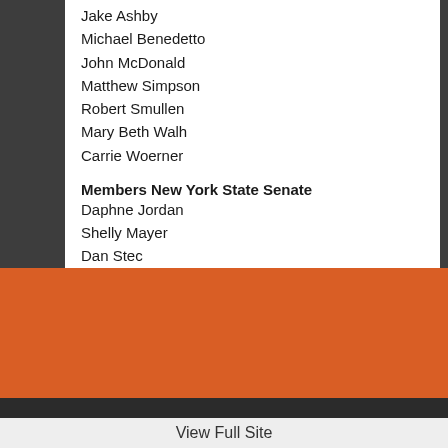Jake Ashby
Michael Benedetto
John McDonald
Matthew Simpson
Robert Smullen
Mary Beth Walh
Carrie Woerner
Members New York State Senate
Daphne Jordan
Shelly Mayer
Dan Stec
James Tedisco
24 South Park St.
Cambridge, NY 12816
Site Map
(518) 677-8527
(518) 677-3889
View Full Site